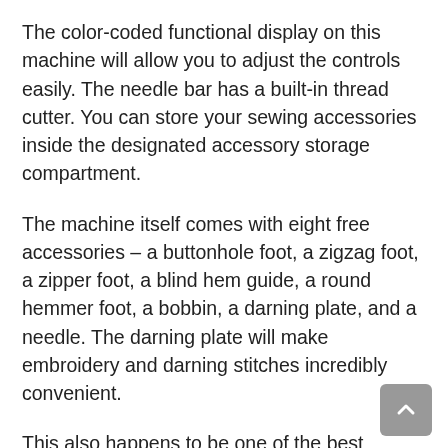The color-coded functional display on this machine will allow you to adjust the controls easily. The needle bar has a built-in thread cutter. You can store your sewing accessories inside the designated accessory storage compartment.
The machine itself comes with eight free accessories – a buttonhole foot, a zigzag foot, a zipper foot, a blind hem guide, a round hemmer foot, a bobbin, a darning plate, and a needle. The darning plate will make embroidery and darning stitches incredibly convenient.
This also happens to be one of the best sewing machines for home in India when it comes to a